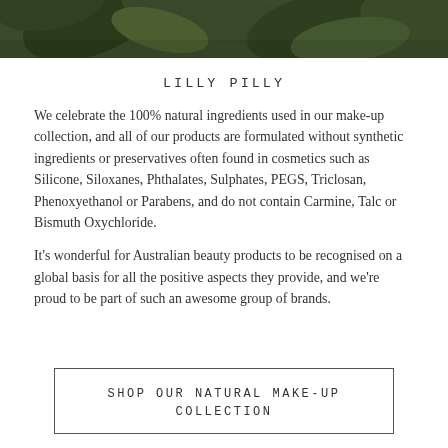[Figure (photo): Partial photo of green leaves/plant at the top of the page]
LILLY PILLY
We celebrate the 100% natural ingredients used in our make-up collection, and all of our products are formulated without synthetic ingredients or preservatives often found in cosmetics such as Silicone, Siloxanes, Phthalates, Sulphates, PEGS, Triclosan, Phenoxyethanol or Parabens, and do not contain Carmine, Talc or Bismuth Oxychloride.
It's wonderful for Australian beauty products to be recognised on a global basis for all the positive aspects they provide, and we're proud to be part of such an awesome group of brands.
SHOP OUR NATURAL MAKE-UP COLLECTION